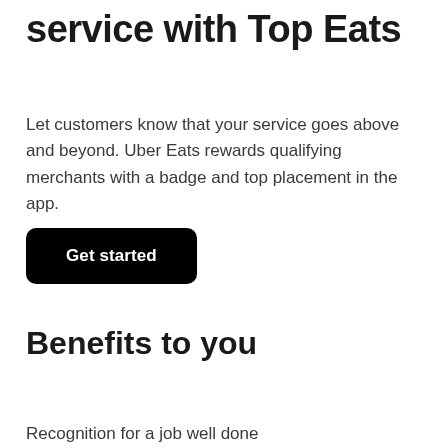service with Top Eats
Let customers know that your service goes above and beyond. Uber Eats rewards qualifying merchants with a badge and top placement in the app.
[Figure (other): Black rounded rectangle button with white text reading 'Get started']
Benefits to you
Recognition for a job well done